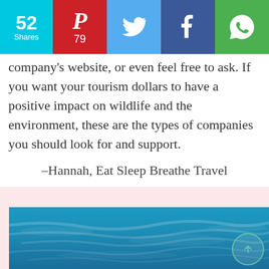52 Shares | Pinterest 79 | Twitter | Facebook | WhatsApp
company's website, or even feel free to ask. If you want your tourism dollars to have a positive impact on wildlife and the environment, these are the types of companies you should look for and support.
-Hannah, Eat Sleep Breathe Travel
[Figure (photo): Aerial or underwater view of blue ocean water with light ripples and waves visible beneath the surface.]